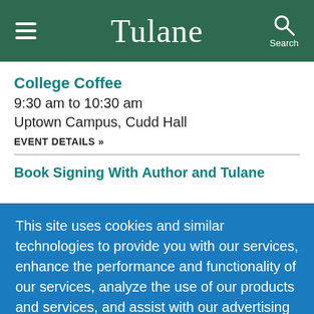Tulane
College Coffee
9:30 am to 10:30 am
Uptown Campus, Cudd Hall
EVENT DETAILS »
Book Signing With Author and Tulane
This site uses cookies and similar technologies to provide you with our services, enhance the performance and functionality of our services, analyze the use of our products and services, and assist with our advertising and marketing efforts.  Privacy Notice   GDPR Privacy Policy
ACCEPT   Decline